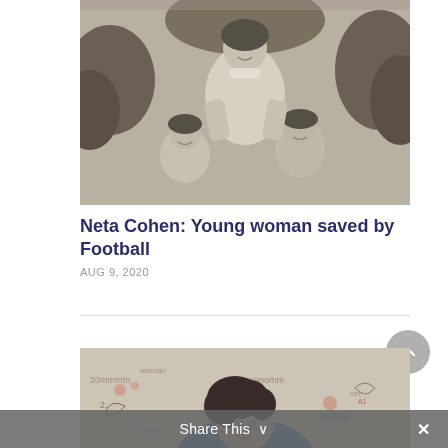[Figure (photo): Black and white vintage photograph of a woman standing behind two young boys, with foliage in the background.]
Neta Cohen: Young woman saved by Football
AUG 9, 2020
[Figure (illustration): Color illustration/drawing of a woman with curly dark hair wearing a blue top, with colorful scribbled background elements.]
Share This ∨  ×